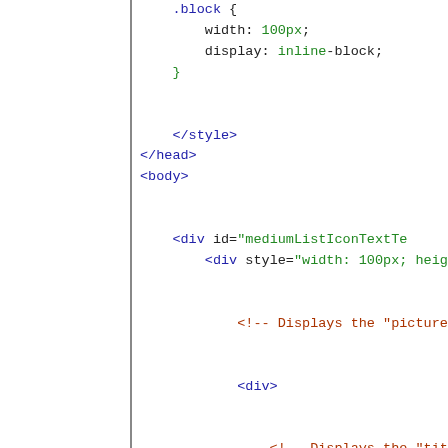Code snippet showing HTML/CSS with .block { width: 100px; display: inline-block; } </style> </head> <body> <div id="mediumListIconTextTe... <div style="width: 100px; heig... <!-- Displays the "picture" f... <div> <!-- Displays the "title" fi... <h4 data-win-bind="inne... <!-- Displays the "text" fi... <h6 data-win-bind="inne... </div>